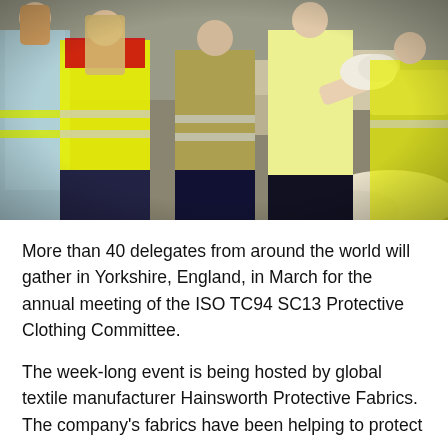[Figure (photo): Group of people wearing yellow high-visibility vests standing in what appears to be a warehouse or industrial facility. One person in a white shirt is holding up what appears to be raw wool or fiber material, showing it to the group.]
More than 40 delegates from around the world will gather in Yorkshire, England, in March for the annual meeting of the ISO TC94 SC13 Protective Clothing Committee.
The week-long event is being hosted by global textile manufacturer Hainsworth Protective Fabrics. The company's fabrics have been helping to protect